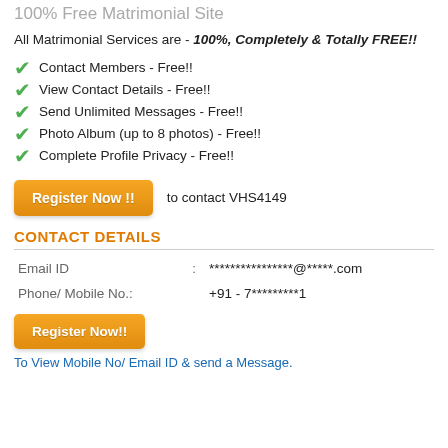100% Free Matrimonial Site
All Matrimonial Services are - 100%, Completely & Totally FREE!!
Contact Members - Free!!
View Contact Details - Free!!
Send Unlimited Messages - Free!!
Photo Album (up to 8 photos) - Free!!
Complete Profile Privacy - Free!!
Register Now !! to contact VHS4149
CONTACT DETAILS
| Field | : | Value |
| --- | --- | --- |
| Email ID | : | ****************@*****.com |
| Phone/ Mobile No. | : | +91 - 7*********1 |
Register Now!!
To View Mobile No/ Email ID & send a Message.